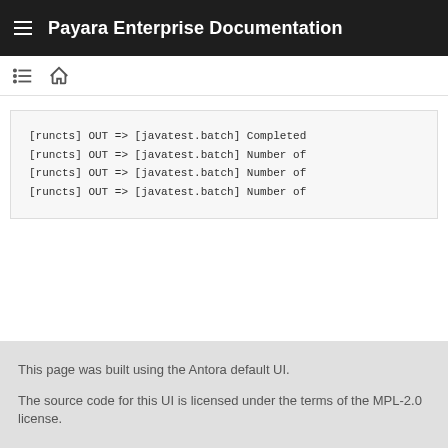Payara Enterprise Documentation
[runcts] OUT => [javatest.batch] Completed
[runcts] OUT => [javatest.batch] Number of
[runcts] OUT => [javatest.batch] Number of
[runcts] OUT => [javatest.batch] Number of
This page was built using the Antora default UI.
The source code for this UI is licensed under the terms of the MPL-2.0 license.